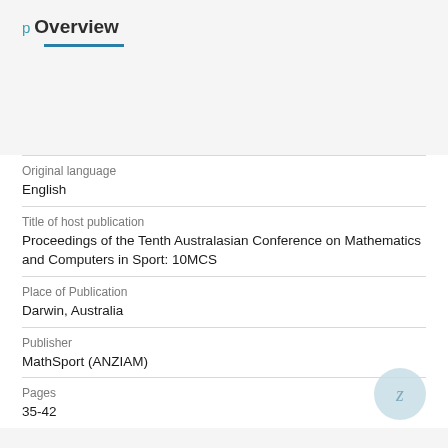p Overview
| Original language | English |
| Title of host publication | Proceedings of the Tenth Australasian Conference on Mathematics and Computers in Sport: 10MCS |
| Place of Publication | Darwin, Australia |
| Publisher | MathSport (ANZIAM) |
| Pages | 35-42 |